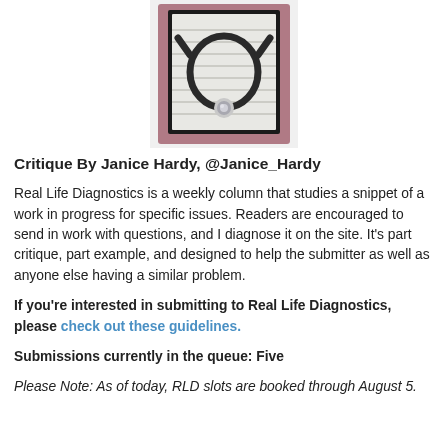[Figure (illustration): A logo image showing a stethoscope looped over a notepad/clipboard with lined paper, set against a mauve/pink background with a black frame.]
Critique By Janice Hardy, @Janice_Hardy
Real Life Diagnostics is a weekly column that studies a snippet of a work in progress for specific issues. Readers are encouraged to send in work with questions, and I diagnose it on the site. It's part critique, part example, and designed to help the submitter as well as anyone else having a similar problem.
If you're interested in submitting to Real Life Diagnostics, please check out these guidelines.
Submissions currently in the queue: Five
Please Note: As of today, RLD slots are booked through August 5.